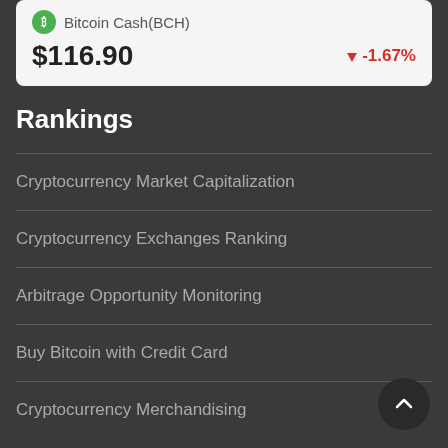Bitcoin Cash(BCH) $116.90 -1.67%
Rankings
Cryptocurrency Market Capitalization
Cryptocurrency Exchanges Ranking
Arbitrage Opportunity Monitoring
Buy Bitcoin with Credit Card
Cryptocurrency Merchandising